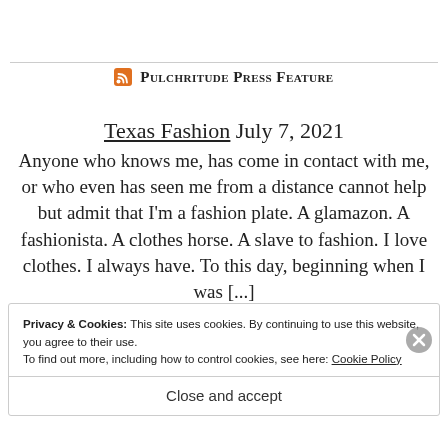Pulchritude Press Feature
Texas Fashion July 7, 2021
Anyone who knows me, has come in contact with me, or who even has seen me from a distance cannot help but admit that I'm a fashion plate. A glamazon. A fashionista. A clothes horse. A slave to fashion. I love clothes. I always have. To this day, beginning when I was [...]
—Kane Lesser
Privacy & Cookies: This site uses cookies. By continuing to use this website, you agree to their use.
To find out more, including how to control cookies, see here: Cookie Policy
Close and accept